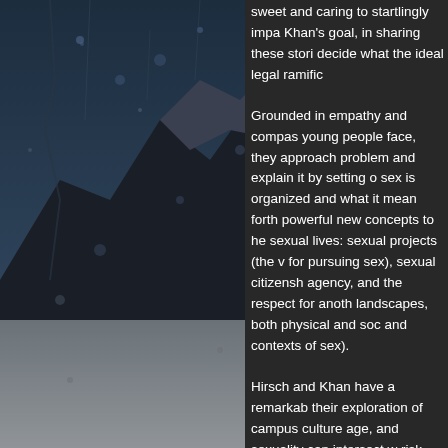[Figure (photo): Dark moody photograph of a rain-covered window or glass surface with water droplets, showing a dark mountainous or rocky silhouette in blue-grey tones]
sweet and caring to startlingly impa Khan's goal, in sharing these stori decide what the ideal legal ramific
Grounded in empathy and compas young people face, they approach problem and explain it by setting o sex is organized and what it mean forth powerful new concepts to he sexual lives: sexual projects (the v for pursuing sex), sexual citizensh agency, and the respect for anoth landscapes, both physical and soc and contexts of sex).
Hirsch and Khan have a remarkab their exploration of campus culture age, and sexuality can intersect w risk and who is most likely to com often painful accounts of the huma